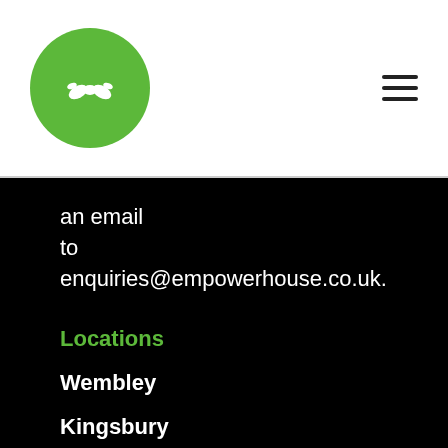[Figure (logo): Green circular logo with two hands shaking/touching inside a green circle, white icon on green background]
an email to enquiries@empowerhouse.co.uk.
Locations
Wembley
Kingsbury
Hampton
Hillingdon
House